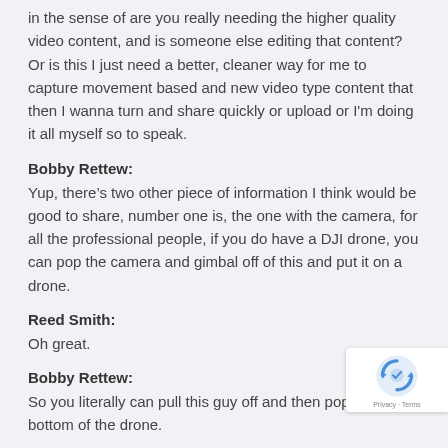in the sense of are you really needing the higher quality video content, and is someone else editing that content? Or is this I just need a better, cleaner way for me to capture movement based and new video type content that then I wanna turn and share quickly or upload or I'm doing it all myself so to speak.
Bobby Rettew:
Yup, there's two other piece of information I think would be good to share, number one is, the one with the camera, for all the professional people, if you do have a DJI drone, you can pop the camera and gimbal off of this and put it on a drone.
Reed Smith:
Oh great.
Bobby Rettew:
So you literally can pull this guy off and then pop it on bottom of the drone.
Reed Smith: